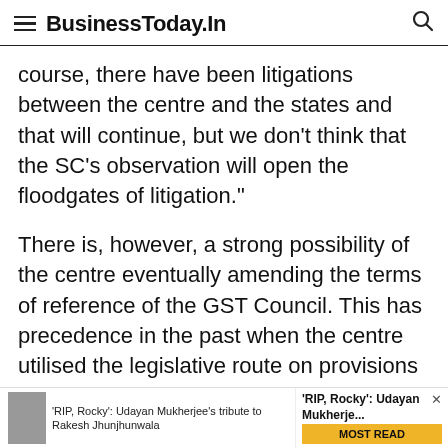BusinessToday.In
course, there have been litigations between the centre and the states and that will continue, but we don’t think that the SC’s observation will open the floodgates of litigation.”
There is, however, a strong possibility of the centre eventually amending the terms of reference of the GST Council. This has precedence in the past when the centre utilised the legislative route on provisions or recommendations that didn’t find favour with the judiciary.
'RIP, Rocky': Udayan Mukherjee's tribute to Rakesh Jhunjhunwala   'RIP, Rocky': Udayan Mukherje...   MOST READ